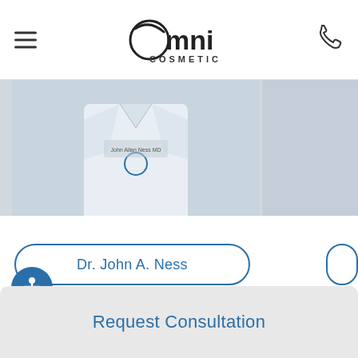Omni Cosmetic
[Figure (photo): Doctor in white coat with Omni Cosmetic logo embroidered, cropped torso view]
Dr. John A. Ness
[Figure (other): Horizontal progress bar showing approximately 42% complete]
[Figure (other): Accessibility icon button (person with arms extended in circle)]
Request Consultation